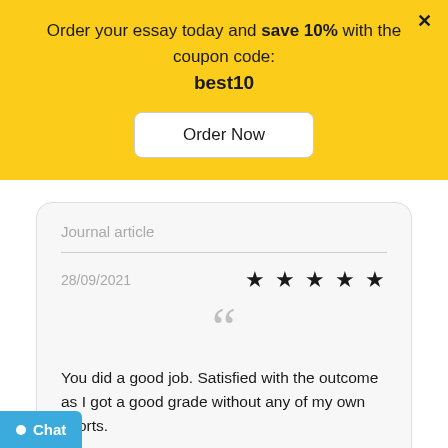Order your essay today and save 10% with the coupon code: best10
Order Now
Journal article
28/09/2021
★★★★★
You did a good job. Satisfied with the outcome as I got a good grade without any of my own efforts.
Chat